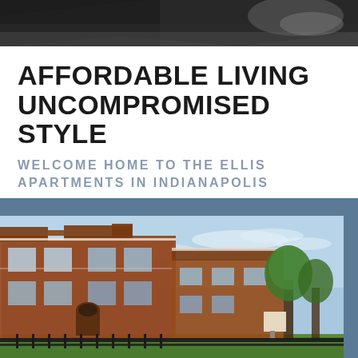[Figure (photo): Partial top image showing what appears to be a close-up dark background photo, cropped at the top of the page]
AFFORDABLE LIVING UNCOMPROMISED STYLE
WELCOME HOME TO THE ELLIS APARTMENTS IN INDIANAPOLIS
[Figure (photo): Exterior photograph of The Ellis Apartments — a multi-story red brick apartment building with white trim, arched entrance doorway, multiple windows, black iron fence in foreground, green lawn, trees, and a blue sky with light clouds in the background]